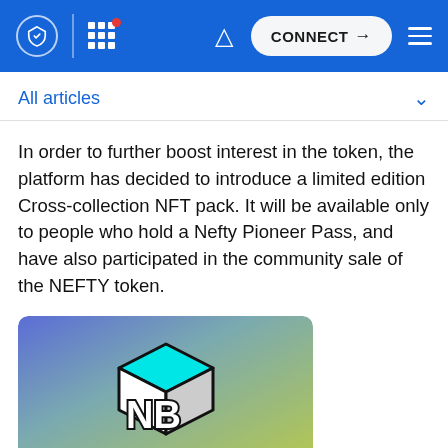Navigation bar with logo, grid icon, bell, CONNECT button, and menu
All articles
In order to further boost interest in the token, the platform has decided to introduce a limited edition Cross-collection NFT pack. It will be available only to people who hold a Nefty Pioneer Pass, and have also participated in the community sale of the NEFTY token.
[Figure (logo): NeftyBlocks logo — a 3D cube with cyan top face and white 'NB' letters on a gradient blue-green-yellow background]